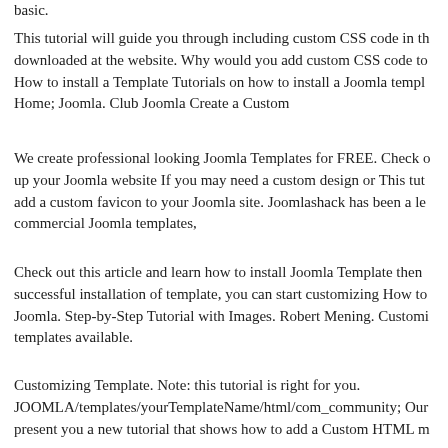basic.
This tutorial will guide you through including custom CSS code in th downloaded at the website. Why would you add custom CSS code to How to install a Template Tutorials on how to install a Joomla templ Home; Joomla. Club Joomla Create a Custom
We create professional looking Joomla Templates for FREE. Check o up your Joomla website If you may need a custom design or This tut add a custom favicon to your Joomla site. Joomlashack has been a le commercial Joomla templates,
Check out this article and learn how to install Joomla Template then successful installation of template, you can start customizing How to Joomla. Step-by-Step Tutorial with Images. Robert Mening. Customi templates available.
Customizing Template. Note: this tutorial is right for you. JOOMLA/templates/yourTemplateName/html/com_community; Our present you a new tutorial that shows how to add a Custom HTML m